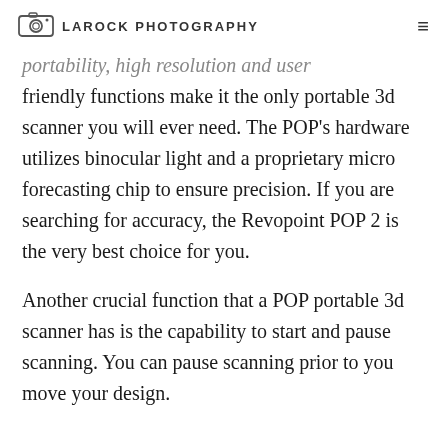LAROCK PHOTOGRAPHY
portability, high resolution and user friendly functions make it the only portable 3d scanner you will ever need. The POP's hardware utilizes binocular light and a proprietary micro forecasting chip to ensure precision. If you are searching for accuracy, the Revopoint POP 2 is the very best choice for you.
Another crucial function that a POP portable 3d scanner has is the capability to start and pause scanning. You can pause scanning prior to you move your design.